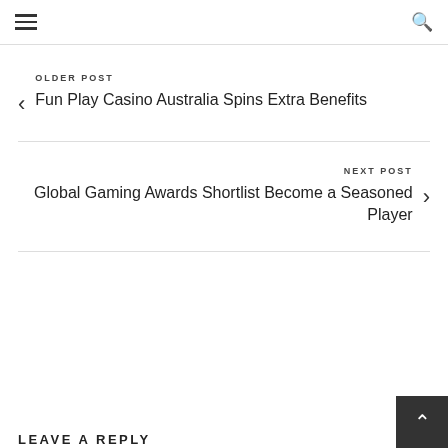Navigation header with hamburger menu and search icon
OLDER POST
Fun Play Casino Australia Spins Extra Benefits
NEXT POST
Global Gaming Awards Shortlist Become a Seasoned Player
LEAVE A REPLY